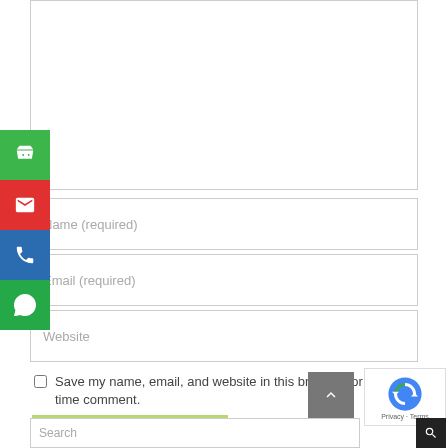[Figure (screenshot): Comment form textarea (empty, resizable) at the top of the page]
[Figure (screenshot): Name (required) input field]
[Figure (screenshot): Email (required) input field]
[Figure (screenshot): Website input field]
Save my name, email, and website in this browser for the next time comment.
[Figure (screenshot): POST COMMENT button (light green)]
[Figure (screenshot): Vertical sidebar with shopping cart (green), email (red), phone (blue), WhatsApp (green) buttons]
[Figure (screenshot): Scroll-to-top button (grey with caret)]
[Figure (screenshot): reCAPTCHA widget with Privacy and Terms links]
[Figure (screenshot): Search bar at the bottom of the page]